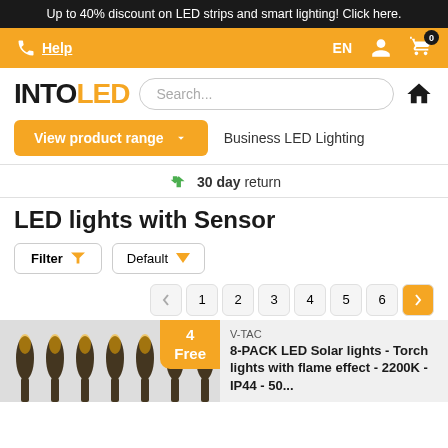Up to 40% discount on LED strips and smart lighting! Click here.
Help
EN
[Figure (logo): INTOLED logo with INTO in black and LED in orange]
Search...
View product range
Business LED Lighting
30 day return
LED lights with Sensor
Filter
Default
1 2 3 4 5 6
4 Free
V-TAC
8-PACK LED Solar lights - Torch lights with flame effect - 2200K - IP44 - 50...